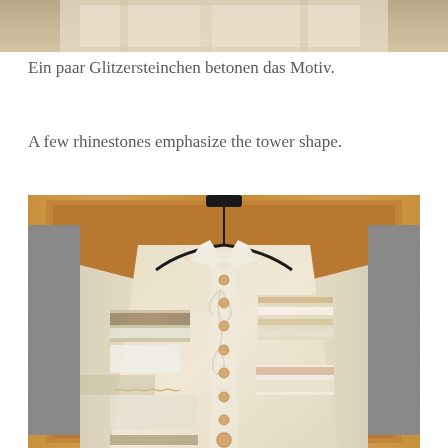[Figure (photo): Top portion of a photo showing a garment or textile item, cropped at top of page]
Ein paar Glitzersteinchen betonen das Motiv.
A few rhinestones emphasize the tower shape.
[Figure (photo): A cream/beige linen patchwork button-up shirt displayed on a hanger against a wooden background. The shirt features decorative embroidery, lace trim strips, and patchwork panels in various neutral tones. Golden/peach buttons run down the front center.]